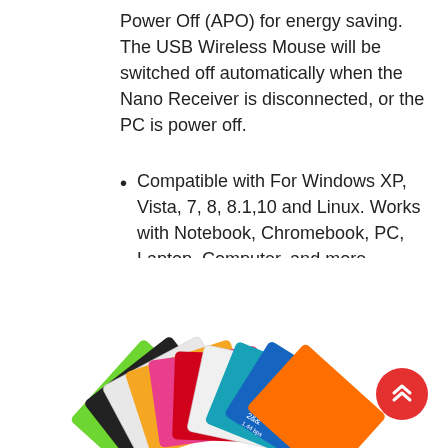Power Off (APO) for energy saving. The USB Wireless Mouse will be switched off automatically when the Nano Receiver is disconnected, or the PC is power off.
Compatible with For Windows XP, Vista, 7, 8, 8.1,10 and Linux. Works with Notebook, Chromebook, PC, Laptop, Computer, and more.(batteries are NOT included).
[Figure (photo): A fan of colorful credit-card sized cards in various colors including green, black, white, orange, pink, red, blue arranged in a fanned spread. A red circular button with double up-arrows is visible in the lower right corner.]